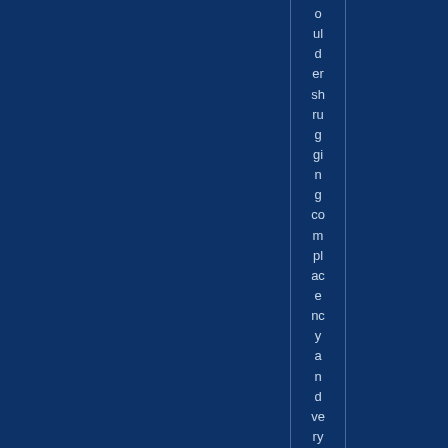ould er sh ru g gi n g co m pl ac e nc y a n d ve ry w e ak lin e b et w